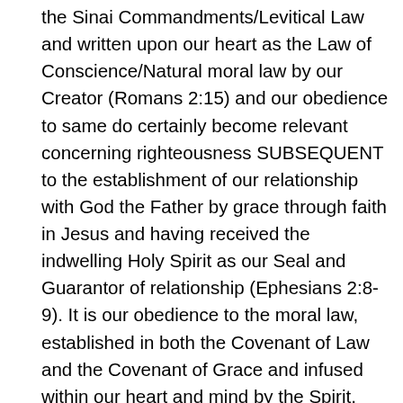the Sinai Commandments/Levitical Law and written upon our heart as the Law of Conscience/Natural moral law by our Creator (Romans 2:15) and our obedience to same do certainly become relevant concerning righteousness SUBSEQUENT to the establishment of our relationship with God the Father by grace through faith in Jesus and having received the indwelling Holy Spirit as our Seal and Guarantor of relationship (Ephesians 2:8-9). It is our obedience to the moral law, established in both the Covenant of Law and the Covenant of Grace and infused within our heart and mind by the Spirit, that verify and validate the authenticity of our confession in, faith in, Jesus Christ as our God and Mediator for our sin. Our pursuit of obedience to the moral Law of God SUBSEQUENT to our confession (our justification) is indicative of the process of “sanctification” that is a work of the indwelling Holy Spirit (Ephesians 1:13-14; 1 John 2:27; John 16:13; John 14:16) who prepares the